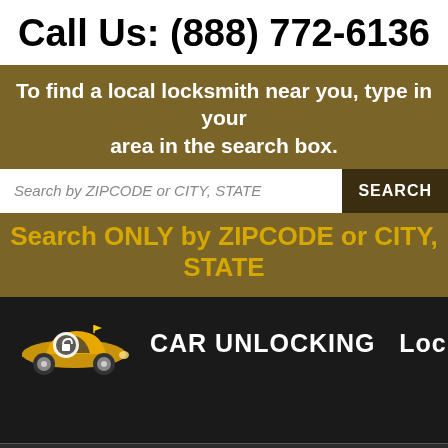Call Us: (888) 772-6136
To find a local locksmith near you, type in your area in the search box.
Search by ZIPCODE or CITY, STATE
SEARCH
Search ONLY by ZIPCODE or CITY, STATE
[Figure (logo): Yellow sports car logo with a lock icon overlay, next to text reading CAR UNLOCKING Locksmith]
CAR UNLOCKING   Locksm
Home | About Us | Services | Blog | Contact Us
Belvidere TN